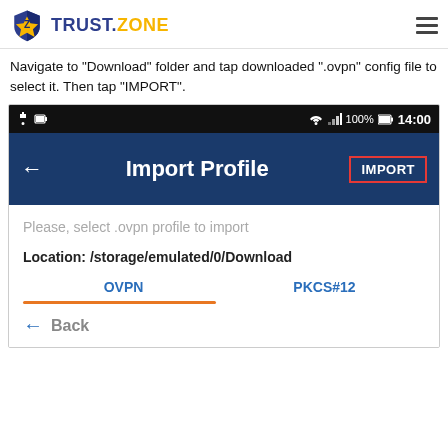TRUST.ZONE
Navigate to "Download" folder and tap downloaded ".ovpn" config file to select it. Then tap "IMPORT".
[Figure (screenshot): Android app screenshot showing 'Import Profile' screen with status bar (100%, 14:00), a dark blue header with back arrow, 'Import Profile' title, and red-bordered 'IMPORT' button. Below: 'Please, select .ovpn profile to import', 'Location: /storage/emulated/0/Download', tabs for OVPN and PKCS#12 with orange underline on OVPN, and a Back button.]